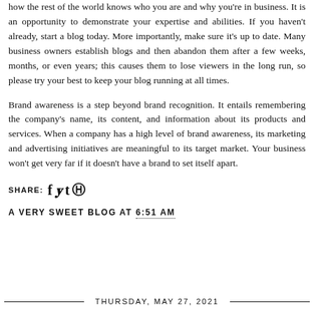how the rest of the world knows who you are and why you're in business. It is an opportunity to demonstrate your expertise and abilities. If you haven't already, start a blog today. More importantly, make sure it's up to date. Many business owners establish blogs and then abandon them after a few weeks, months, or even years; this causes them to lose viewers in the long run, so please try your best to keep your blog running at all times.
Brand awareness is a step beyond brand recognition. It entails remembering the company's name, its content, and information about its products and services. When a company has a high level of brand awareness, its marketing and advertising initiatives are meaningful to its target market. Your business won't get very far if it doesn't have a brand to set itself apart.
SHARE: [social icons: f, twitter, t, pinterest]
A VERY SWEET BLOG AT 6:51 AM
THURSDAY, MAY 27, 2021